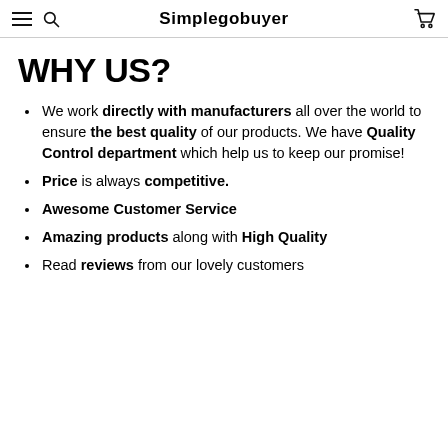Simplegobuyer
WHY US?
We work directly with manufacturers all over the world to ensure the best quality of our products. We have Quality Control department which help us to keep our promise!
Price is always competitive.
Awesome Customer Service
Amazing products along with High Quality
Read reviews from our lovely customers